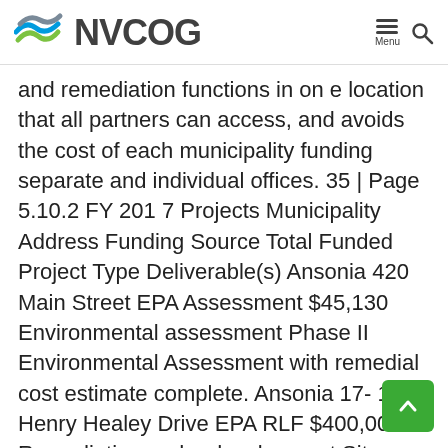NVCOG
and remediation functions in on e location that all partners can access, and avoids the cost of each municipality funding separate and individual offices. 35 | Page 5.10.2 FY 201 7 Projects Municipality Address Funding Source Total Funded Project Type Deliverable(s) Ansonia 420 Main Street EPA Assessment $45,130 Environmental assessment Phase II Environmental Assessment with remedial cost estimate complete. Ansonia 17- 19 Henry Healey Drive EPA RLF $400,000 Remediation and redevelopment Site remediated. Locally owned used -car dealership in operation. Loan in interest – only period. Due 2024.